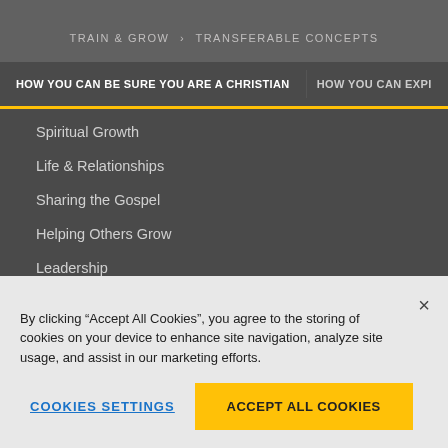TRAIN & GROW > TRANSFERABLE CONCEPTS
HOW YOU CAN BE SURE YOU ARE A CHRISTIAN   HOW YOU CAN EXPI
Spiritual Growth
Life & Relationships
Sharing the Gospel
Helping Others Grow
Leadership
By clicking “Accept All Cookies”, you agree to the storing of cookies on your device to enhance site navigation, analyze site usage, and assist in our marketing efforts.
Cookies Settings   Accept All Cookies